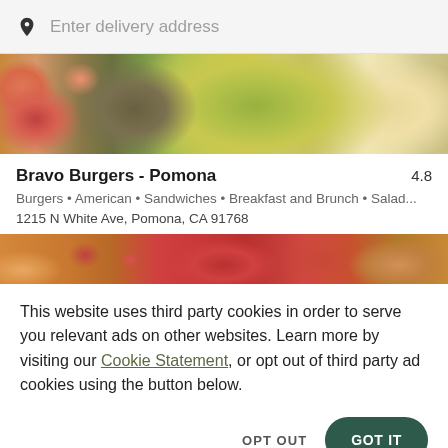Enter delivery address
[Figure (photo): Food photos showing strawberry toast, salad bowl with vegetables and cherry tomatoes, and french fries on plates viewed from above]
Bravo Burgers - Pomona
4.8
Burgers • American • Sandwiches • Breakfast and Brunch • Salad...
1215 N White Ave, Pomona, CA 91768
[Figure (photo): Close-up food photo showing burger components including tomato and bun]
This website uses third party cookies in order to serve you relevant ads on other websites. Learn more by visiting our Cookie Statement, or opt out of third party ad cookies using the button below.